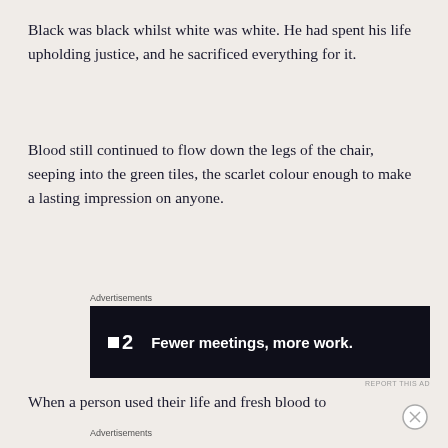Black was black whilst white was white. He had spent his life upholding justice, and he sacrificed everything for it.
Blood still continued to flow down the legs of the chair, seeping into the green tiles, the scarlet colour enough to make a lasting impression on anyone.
[Figure (other): Advertisement banner for a product showing logo and text 'Fewer meetings, more work.' on dark background]
When a person used their life and fresh blood to
Advertisements